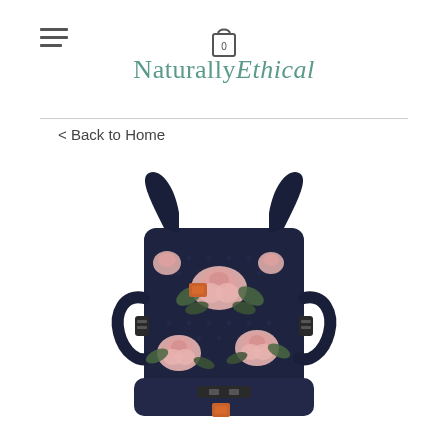Naturally Ethical
< Back to Home
[Figure (photo): A baby carrier with a dark navy background featuring pink floral (rose) and green leaf patterns. The carrier has black straps, buckles, and an orange brand tag.]